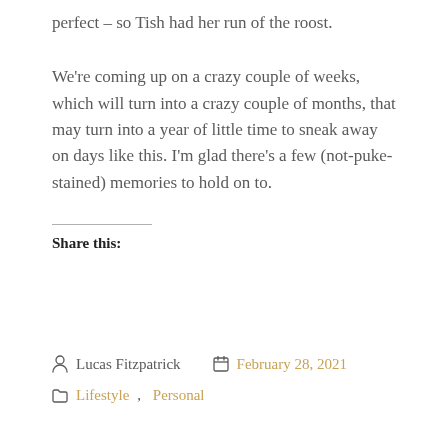perfect – so Tish had her run of the roost.
We're coming up on a crazy couple of weeks, which will turn into a crazy couple of months, that may turn into a year of little time to sneak away on days like this. I'm glad there's a few (not-puke-stained) memories to hold on to.
Share this:
Lucas Fitzpatrick   February 28, 2021   Lifestyle, Personal